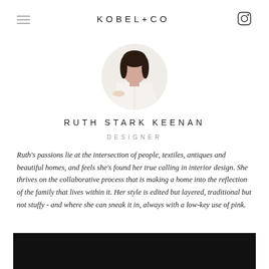KOBEL+CO
[Figure (photo): Circular cropped portrait photo of Ruth Stark Keenan, a woman with dark hair wearing a white outfit]
RUTH STARK KEENAN
DESIGNER
Ruth's passions lie at the intersection of people, textiles, antiques and beautiful homes, and feels she's found her true calling in interior design. She thrives on the collaborative process that is making a home into the reflection of the family that lives within it. Her style is edited but layered, traditional but not stuffy - and where she can sneak it in, always with a low-key use of pink.
[Figure (photo): Bottom black image strip, partial view of a dark photo]